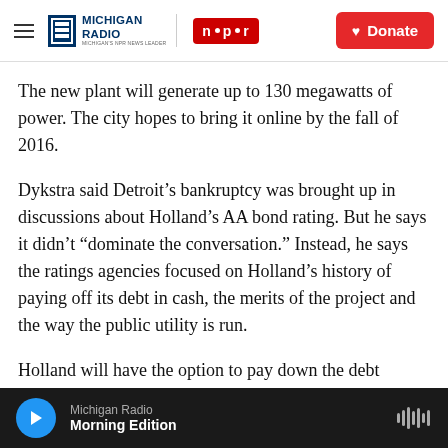Michigan Radio NPR | Donate
The new plant will generate up to 130 megawatts of power. The city hopes to bring it online by the fall of 2016.
Dykstra said Detroit’s bankruptcy was brought up in discussions about Holland’s AA bond rating. But he says it didn’t “dominate the conversation.” Instead, he says the ratings agencies focused on Holland’s history of paying off its debt in cash, the merits of the project and the way the public utility is run.
Holland will have the option to pay down the debt
Michigan Radio | Morning Edition